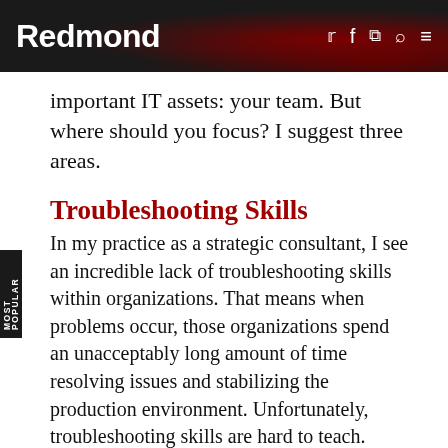Redmond
important IT assets: your team. But where should you focus? I suggest three areas.
Troubleshooting Skills
In my practice as a strategic consultant, I see an incredible lack of troubleshooting skills within organizations. That means when problems occur, those organizations spend an unacceptably long amount of time resolving issues and stabilizing the production environment. Unfortunately, troubleshooting skills are hard to teach.
You can, however, encourage your team to deliberately develop and refine its experience, which leads directly to more efficient troubleshooting. Have a brief meeting every month (and no, I can't believe I'm recommending